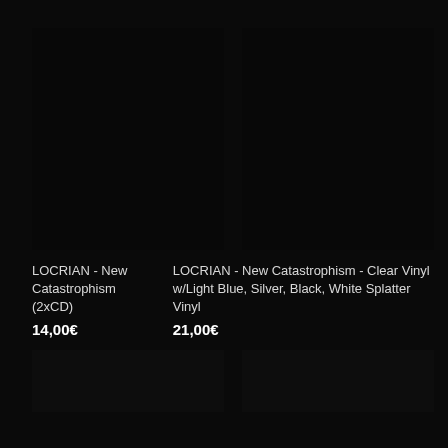[Figure (photo): Black product image for LOCRIAN - New Catastrophism (2xCD)]
[Figure (photo): Black product image for LOCRIAN - New Catastrophism - Clear Vinyl w/Light Blue, Silver, Black, White Splatter Vinyl]
LOCRIAN - New Catastrophism (2xCD)
14,00€
LOCRIAN - New Catastrophism - Clear Vinyl w/Light Blue, Silver, Black, White Splatter Vinyl
21,00€
[Figure (photo): Black product image bottom left]
[Figure (photo): Black product image bottom right]